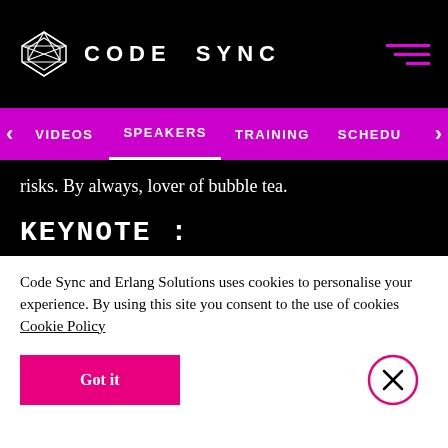CODE SYNC
VIDEOS  SPEAKERS  TRAINING  SCHEDU
risks. By always, lover of bubble tea.
KEYNOTE :
What Counts as a Programming Language?
10 Mar / 09.10 / Track 1
Code Sync and Erlang Solutions uses cookies to personalise your experience. By using this site you consent to the use of cookies Cookie Policy
Got it